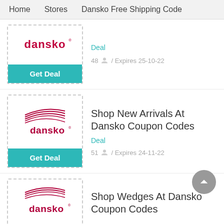Home   Stores   Dansko Free Shipping Code
[Figure (logo): Dansko brand logo (red text, top card)]
Deal
48 / Expires 25-10-22
[Figure (logo): Dansko brand logo with wing/swoosh graphic]
Shop New Arrivals At Dansko Coupon Codes
Deal
51 / Expires 24-11-22
[Figure (logo): Dansko brand logo with wing/swoosh graphic (third card)]
Shop Wedges At Dansko Coupon Codes